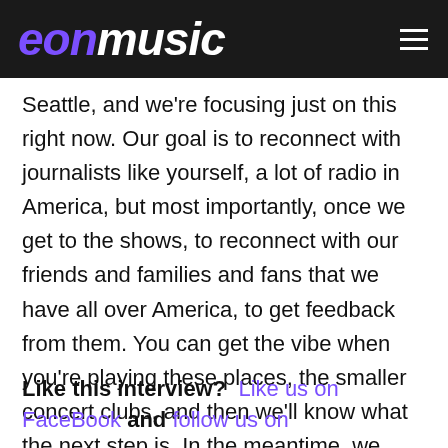eon music
Seattle, and we're focusing just on this right now. Our goal is to reconnect with journalists like yourself, a lot of radio in America, but most importantly, once we get to the shows, to reconnect with our friends and families and fans that we have all over America, to get feedback from them. You can get the vibe when you're playing these places, the smaller concert clubs, and then we'll know what the next step is. In the meantime, we have had some promoters from Japan, Germany and South America reach out to us, and we have a few things already set up for 2019, and we're just taking it slow.
Like this interview?  Like us on FaceBook  and  follow us on